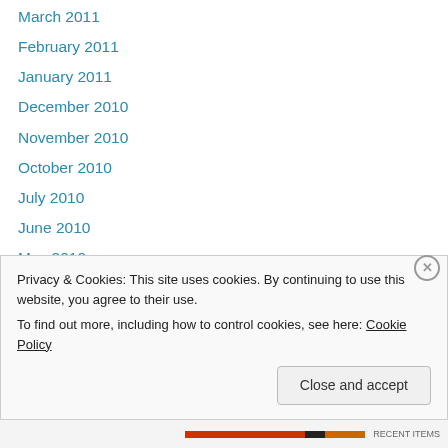March 2011
February 2011
January 2011
December 2010
November 2010
October 2010
July 2010
June 2010
May 2010
April 2010
March 2010
February 2010
December 2009
November 200…
Privacy & Cookies: This site uses cookies. By continuing to use this website, you agree to their use.
To find out more, including how to control cookies, see here: Cookie Policy
Close and accept